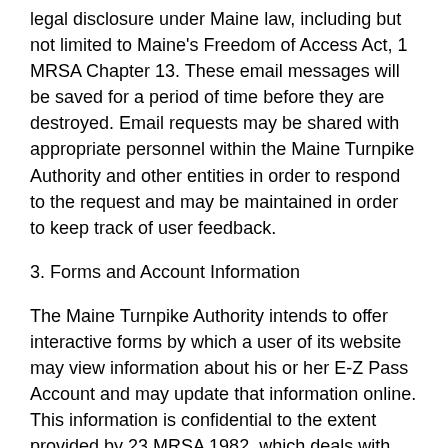legal disclosure under Maine law, including but not limited to Maine's Freedom of Access Act, 1 MRSA Chapter 13. These email messages will be saved for a period of time before they are destroyed. Email requests may be shared with appropriate personnel within the Maine Turnpike Authority and other entities in order to respond to the request and may be maintained in order to keep track of user feedback.
3. Forms and Account Information
The Maine Turnpike Authority intends to offer interactive forms by which a user of its website may view information about his or her E-Z Pass Account and may update that information online. This information is confidential to the extent provided by 23 MRSA 1982, which deals with personal information such as name, address and travel patterns of Turnpike Patrons, and by applicable state and federal laws which protect financial and credit card information, including but not limited to 9-A MRSA 8-304, but